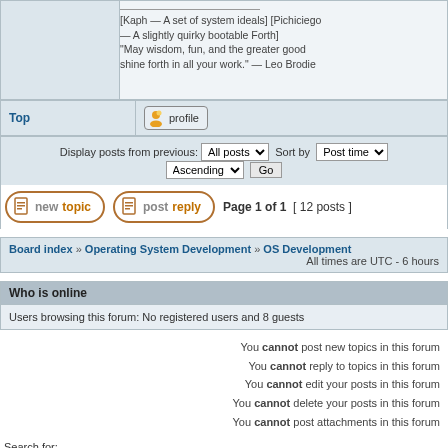[Kaph — A set of system ideals] [Pichiciego — A slightly quirky bootable Forth] "May wisdom, fun, and the greater good shine forth in all your work." — Leo Brodie
Top
profile
Display posts from previous: All posts  Sort by  Post time  Ascending  Go
new topic  post reply  Page 1 of 1  [ 12 posts ]
Board index » Operating System Development » OS Development  All times are UTC - 6 hours
Who is online
Users browsing this forum: No registered users and 8 guests
You cannot post new topics in this forum
You cannot reply to topics in this forum
You cannot edit your posts in this forum
You cannot delete your posts in this forum
You cannot post attachments in this forum
Search for:
Jump to:  OS Development
Powered by phpBB © 2000, 2002, 2005, 2007 phpBB Group